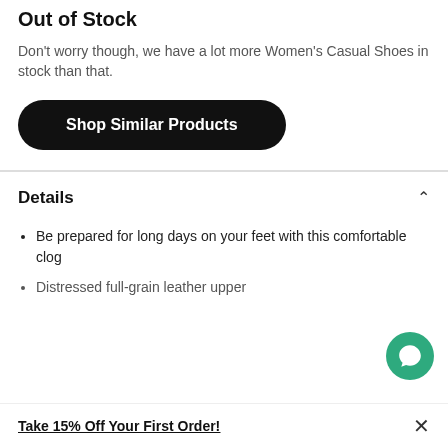Out of Stock
Don't worry though, we have a lot more Women's Casual Shoes in stock than that.
Shop Similar Products
Details
Be prepared for long days on your feet with this comfortable clog
Distressed full-grain leather upper
Take 15% Off Your First Order!